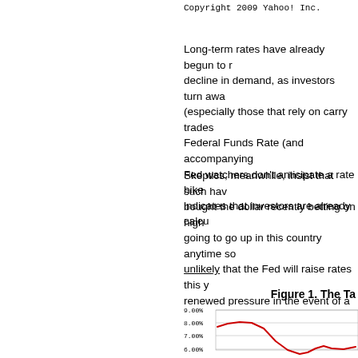Copyright 2009 Yahoo! Inc.
Long-term rates have already begun to r... decline in demand, as investors turn awa... (especially those that rely on carry trades... Federal Funds Rate (and accompanying... Fed watchers don't anticipate a rate hike... indicates that investors are already calcu...
Skeptics, meanwhile, insist that such haw... bought the dollar recently betting on high... going to go up in this country anytime so... unlikely that the Fed will raise rates this y... renewed pressure in the event of a dovis... on what time horizon you look at.
Figure 1. The Ta
[Figure (line-chart): Line chart showing rates over time, with y-axis labels 9.00%, 8.00%, 7.00%, 6.00%. A red line starts near 8.00%, peaks, then declines sharply, then rises again toward 6.00% at the right edge.]